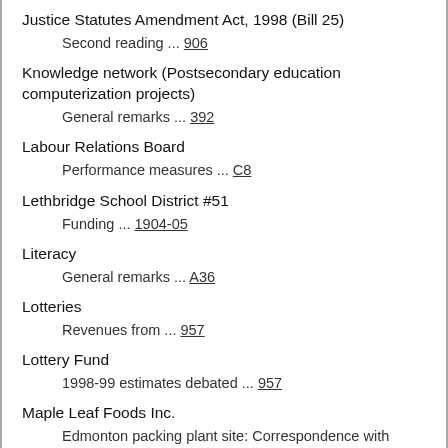Justice Statutes Amendment Act, 1998 (Bill 25)
  Second reading ... 906
Knowledge network (Postsecondary education computerization projects)
  General remarks ... 392
Labour Relations Board
  Performance measures ... C8
Lethbridge School District #51
  Funding ... 1904-05
Literacy
  General remarks ... A36
Lotteries
  Revenues from ... 957
Lottery Fund
  1998-99 estimates debated ... 957
Maple Leaf Foods Inc.
  Edmonton packing plant site: Correspondence with